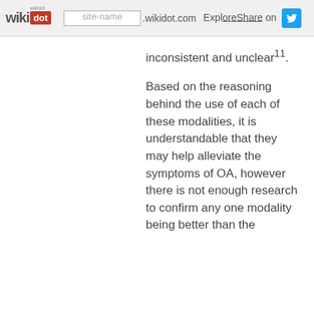wikidot | site-name .wikidot.com | Explore Share on
inconsistent and unclear¹¹. Based on the reasoning behind the use of each of these modalities, it is understandable that they may help alleviate the symptoms of OA, however there is not enough research to confirm any one modality being better than the...